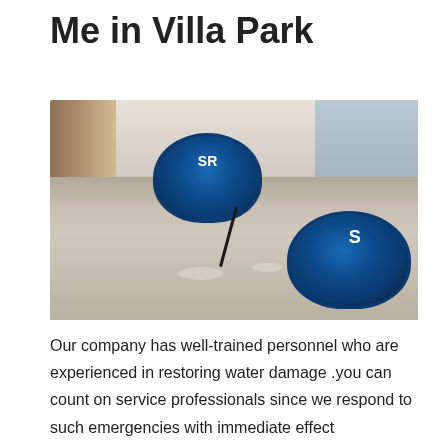Me in Villa Park
[Figure (photo): Interior room with exposed wooden wall studs and concrete floor. Two blue industrial air mover/fan units branded 'SR' are placed in the room during a water damage restoration job.]
Our company has well-trained personnel who are experienced in restoring water damage .you can count on service professionals since we respond to such emergencies with immediate effect